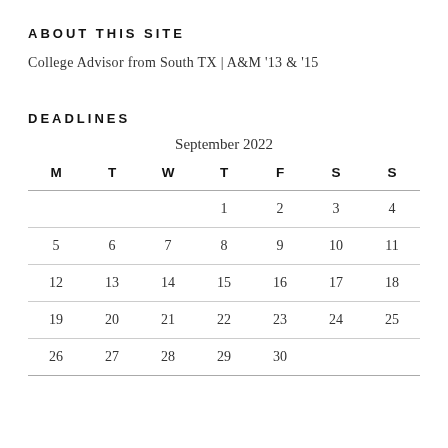ABOUT THIS SITE
College Advisor from South TX | A&M '13 & '15
DEADLINES
| M | T | W | T | F | S | S |
| --- | --- | --- | --- | --- | --- | --- |
|  |  |  | 1 | 2 | 3 | 4 |
| 5 | 6 | 7 | 8 | 9 | 10 | 11 |
| 12 | 13 | 14 | 15 | 16 | 17 | 18 |
| 19 | 20 | 21 | 22 | 23 | 24 | 25 |
| 26 | 27 | 28 | 29 | 30 |  |  |